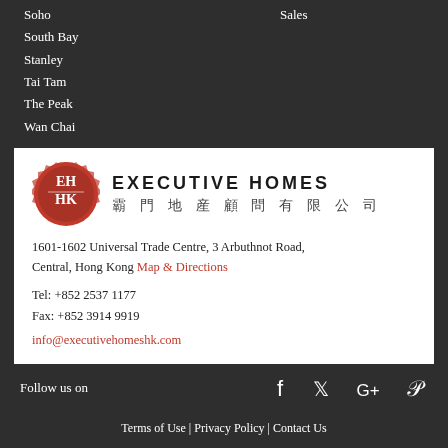Soho
South Bay
Stanley
Tai Tam
The Peak
Wan Chai
Sales
[Figure (logo): Executive Homes logo: red wax seal with EH HK initials, company name in English and Chinese]
1601-1602 Universal Trade Centre, 3 Arbuthnot Road, Central, Hong Kong Map & Directions
Tel: +852 2537 1177
Fax: +852 3914 9919
info@executivehomeshk.com
Follow us on
Terms of Use | Privacy Policy | Contact Us